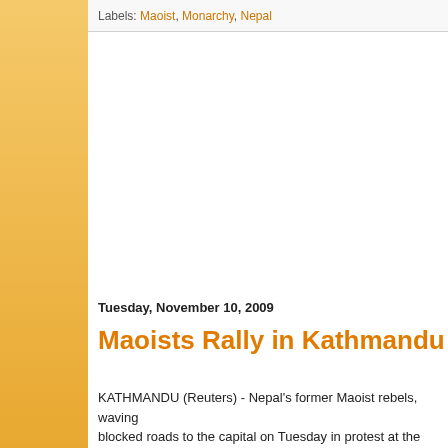Labels: Maoist, Monarchy, Nepal
Tuesday, November 10, 2009
Maoists Rally in Kathmandu
KATHMANDU (Reuters) - Nepal's former Maoist rebels, waving blocked roads to the capital on Tuesday in protest at the reinsta the first time they have taken such action since the end of the c